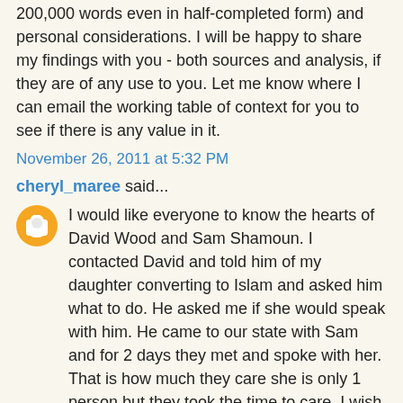200,000 words even in half-completed form) and personal considerations. I will be happy to share my findings with you - both sources and analysis, if they are of any use to you. Let me know where I can email the working table of context for you to see if there is any value in it.
November 26, 2011 at 5:32 PM
cheryl_maree said...
I would like everyone to know the hearts of David Wood and Sam Shamoun. I contacted David and told him of my daughter converting to Islam and asked him what to do. He asked me if she would speak with him. He came to our state with Sam and for 2 days they met and spoke with her. That is how much they care she is only 1 person but they took the time to care. I wish I would have had a book that would have had the info in it, but I did not know what to do. Yes I am Grateful and Thankful to you both and will help you guys all I can, and I can't wait for your books, you bet I will be getting them!
November 26, 2011 at 6:49 PM